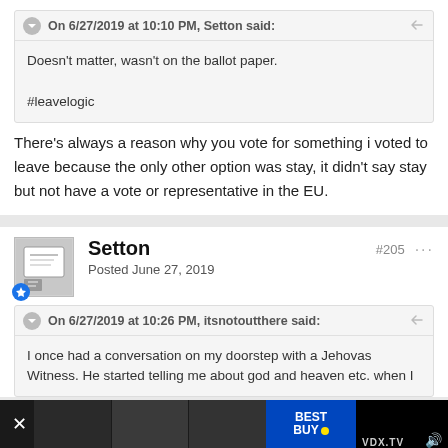On 6/27/2019 at 10:10 PM, Setton said:
Doesn't matter, wasn't on the ballot paper.

#leavelogic
There's always a reason why you vote for something i voted to leave because the only other option was stay, it didn't say stay but not have a vote or representative in the EU.
Setton
Posted June 27, 2019
#205
On 6/27/2019 at 10:26 PM, itsnotoutthere said:
I once had a conversation on my doorstep with a Jehovas Witness. He started telling me about god and heaven etc. when I